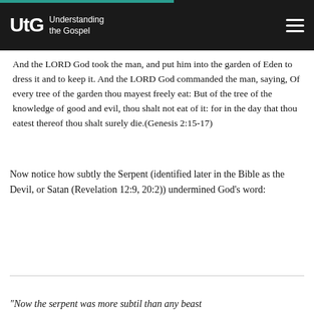UtG Understanding the Gospel
And the LORD God took the man, and put him into the garden of Eden to dress it and to keep it. And the LORD God commanded the man, saying, Of every tree of the garden thou mayest freely eat: But of the tree of the knowledge of good and evil, thou shalt not eat of it: for in the day that thou eatest thereof thou shalt surely die.(Genesis 2:15-17)
Now notice how subtly the Serpent (identified later in the Bible as the Devil, or Satan (Revelation 12:9, 20:2)) undermined God's word:
“Now the serpent was more subtil than any beast